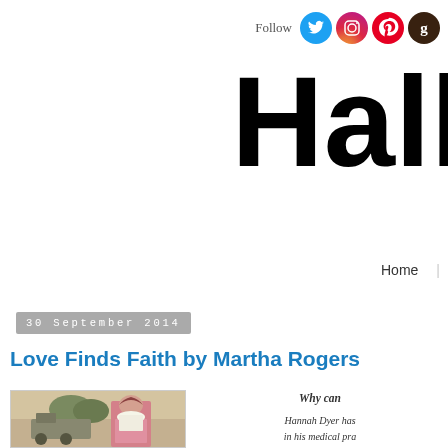Follow [Twitter] [Instagram] [Pinterest] [Goodreads]
Hall
Home
30 September 2014
Love Finds Faith by Martha Rogers
[Figure (photo): Book cover for Love Finds Faith by Martha Rogers showing a young woman in a pink Victorian dress standing near a steam locomotive]
Why can
Hannah Dyer has in his medical pra much shorter tha help make the